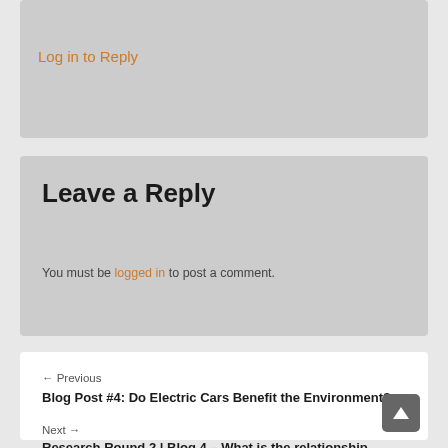Log in to Reply
Leave a Reply
You must be logged in to post a comment.
← Previous
Blog Post #4: Do Electric Cars Benefit the Environment?
Next →
Research Round 2 | Blog 4 – What is the relationship between Law and Philosophy?